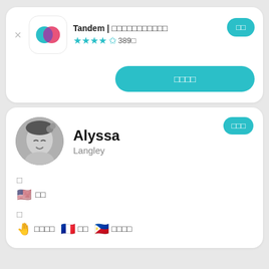Tandem | □□□□□□□□□□□
★★★★☆ 389□
□□
□□□□
Alyssa
Langley
□□□
□
🇺🇸 □□
□
🤚 □□□□  🇫🇷 □□  🇵🇭 □□□□